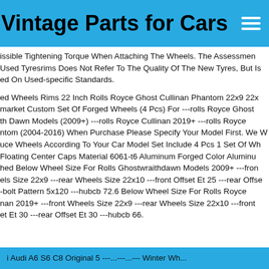Vintage Parts for Cars
issible Tightening Torque When Attaching The Wheels. The Assessment Used Tyresrims Does Not Refer To The Quality Of The New Tyres, But Is ed On Used-specific Standards.
ed Wheels Rims 22 Inch Rolls Royce Ghost Cullinan Phantom 22x9 22x market Custom Set Of Forged Wheels (4 Pcs) For ---rolls Royce Ghost th Dawn Models (2009+) ---rolls Royce Cullinan 2019+ ---rolls Royce ntom (2004-2016) When Purchase Please Specify Your Model First. We W uce Wheels According To Your Car Model Set Include 4 Pcs 1 Set Of Wh Floating Center Caps Material 6061-t6 Aluminum Forged Color Aluminu hed Below Wheel Size For Rolls Ghostwraithdawn Models 2009+ ---fron els Size 22x9 ---rear Wheels Size 22x10 ---front Offset Et 25 ---rear Offse -bolt Pattern 5x120 ---hubcb 72.6 Below Wheel Size For Rolls Royce nan 2019+ ---front Wheels Size 22x9 ---rear Wheels Size 22x10 ---front et Et 30 ---rear Offset Et 30 ---hubcb 66.
Audi A6 S6 C8 Original 5 ---...---...--- Winter Wh...